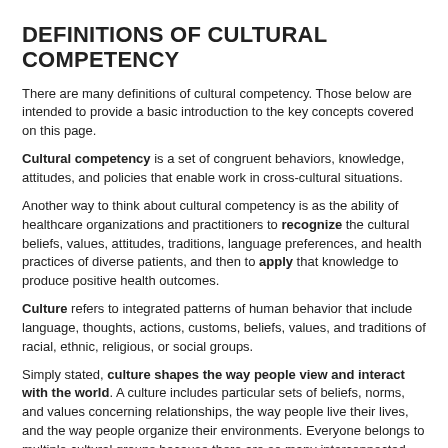DEFINITIONS OF CULTURAL COMPETENCY
There are many definitions of cultural competency. Those below are intended to provide a basic introduction to the key concepts covered on this page.
Cultural competency is a set of congruent behaviors, knowledge, attitudes, and policies that enable work in cross-cultural situations.
Another way to think about cultural competency is as the ability of healthcare organizations and practitioners to recognize the cultural beliefs, values, attitudes, traditions, language preferences, and health practices of diverse patients, and then to apply that knowledge to produce positive health outcomes.
Culture refers to integrated patterns of human behavior that include language, thoughts, actions, customs, beliefs, values, and traditions of racial, ethnic, religious, or social groups.
Simply stated, culture shapes the way people view and interact with the world. A culture includes particular sets of beliefs, norms, and values concerning relationships, the way people live their lives, and the way people organize their environments. Everyone belongs to multiple cultural groups because there are so many interconnected factors that define who we are, such as our nationality, race, religion, language, socioeconomic status, profession, and so on.